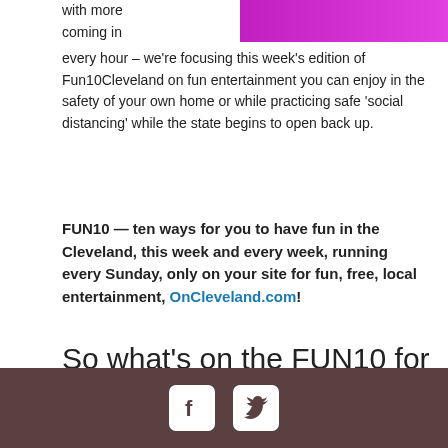[Figure (illustration): Magenta/purple gradient banner image at the top of the page]
with more coming in every hour – we're focusing this week's edition of Fun10Cleveland on fun entertainment you can enjoy in the safety of your own home or while practicing safe 'social distancing' while the state begins to open back up.
FUN10 — ten ways for you to have fun in the Cleveland, this week and every week, running every Sunday, only on your site for fun, free, local entertainment, OnCleveland.com!
So what's on the FUN10 for this week? Read on ...
Social media icons: Facebook, Twitter